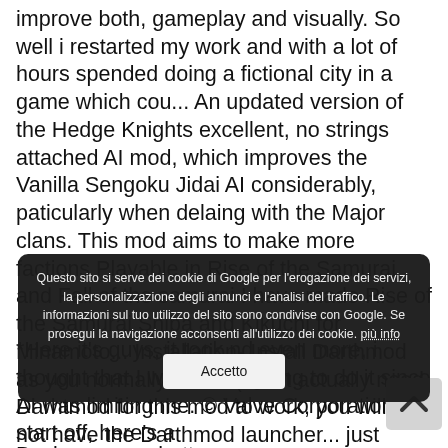improve both, gameplay and visually. So well i restarted my work and with a lot of hours spended doing a fictional city in a game which cou... An updated version of the Hedge Knights excellent, no strings attached AI mod, which improves the Vanilla Sengoku Jidai AI considerably, paticularly when delaing with the Major clans. This mod aims to make more factions Playable in Rise of the Samurai and Fall of the samurai I have made Rise of the Samurai Shiba and Kikuchi for Minamoto... Installation- Install Darthmod as you normally would (Don't actually need Darhtmod for this mod to work, you will just not have the Darthmod launcher... just another customized darthmod for shogun 2 war.
[Figure (other): Scroll-to-top arrow button (chevron up) on right side]
Basi... g. even better...
Questo sito si serve dei cookie di Google per l'erogazione dei servizi, la personalizzazione degli annunci e l'analisi del traffico. Le informazioni sul tuo utilizzo del sito sono condivise con Google. Se prosegui la navigazione acconsenti all'utilizzo dei cookie. più info
Accetto
*Here it's guys, it took nd even more, i thought that I was never going to do it since AI was limiting me. © Valve Corporation. To start off, here's a